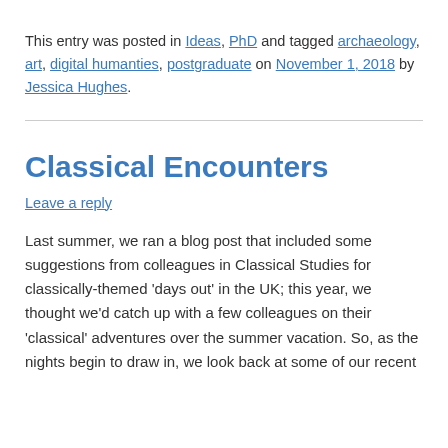This entry was posted in Ideas, PhD and tagged archaeology, art, digital humanties, postgraduate on November 1, 2018 by Jessica Hughes.
Classical Encounters
Leave a reply
Last summer, we ran a blog post that included some suggestions from colleagues in Classical Studies for classically-themed 'days out' in the UK; this year, we thought we'd catch up with a few colleagues on their 'classical' adventures over the summer vacation. So, as the nights begin to draw in, we look back at some of our recent